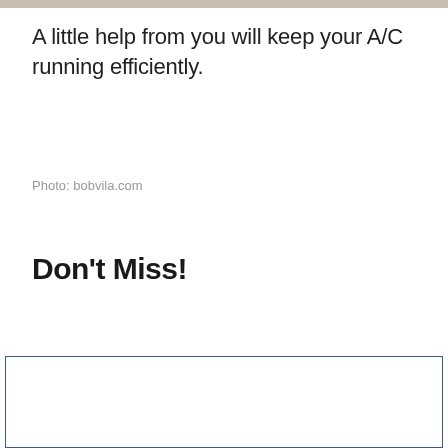A little help from you will keep your A/C running efficiently.
Photo: bobvila.com
Don't Miss!
[Figure (other): Empty bordered rectangle at the bottom of the page]